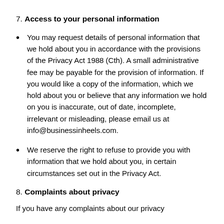7. Access to your personal information
You may request details of personal information that we hold about you in accordance with the provisions of the Privacy Act 1988 (Cth). A small administrative fee may be payable for the provision of information. If you would like a copy of the information, which we hold about you or believe that any information we hold on you is inaccurate, out of date, incomplete, irrelevant or misleading, please email us at info@businessinheels.com.
We reserve the right to refuse to provide you with information that we hold about you, in certain circumstances set out in the Privacy Act.
8. Complaints about privacy
If you have any complaints about our privacy